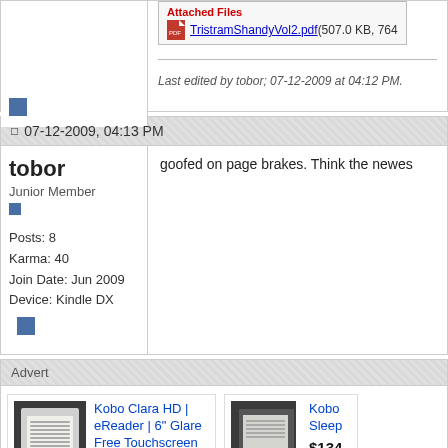Attached Files
TristramShandyVol2.pdf (507.0 KB, 764
Last edited by tobor; 07-12-2009 at 04:12 PM.
[Figure (other): Blue square avatar icon]
07-12-2009, 04:13 PM
tobor
Junior Member
[Figure (other): Small blue square rank indicator]
Posts: 8
Karma: 40
Join Date: Jun 2009
Device: Kindle DX
goofed on page brakes. Think the newes
[Figure (other): Blue square avatar icon]
Advert
[Figure (other): Kobo Clara HD eReader product ad image]
Kobo Clara HD | eReader | 6" Glare Free Touchscreen |…
$119.00
[Figure (other): Kobo eReader second product ad image (partial)]
Kobo Sleep
$134